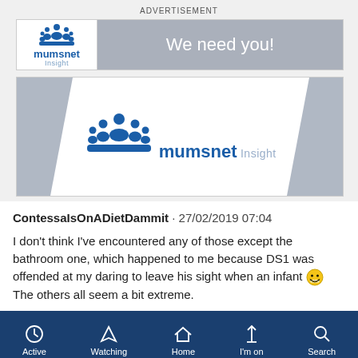ADVERTISEMENT
[Figure (logo): Mumsnet Insight advertisement banner with logo and 'We need you!' text]
[Figure (logo): Mumsnet Insight large logo advertisement banner with grey corner decorations]
ContessaIsOnADietDammit · 27/02/2019 07:04
I don't think I've encountered any of those except the bathroom one, which happened to me because DS1 was offended at my daring to leave his sight when an infant 😄 The others all seem a bit extreme.
Active  Watching  Home  I'm on  Search